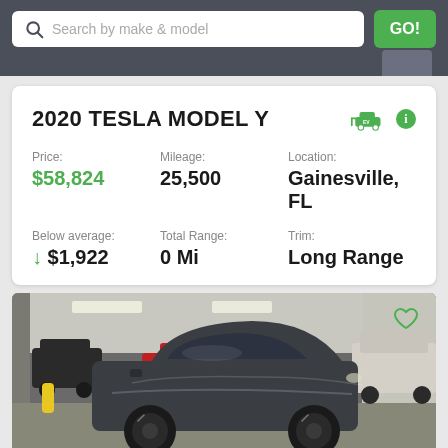Search by make & model  GO!
2020 TESLA MODEL Y
Price: $58,824
Mileage: 25,500
Location: Gainesville, FL
Below average: ↓ $1,922
Total Range: 0 Mi
Trim: Long Range
[Figure (photo): Gray Tesla Model Y parked in a multi-car indoor garage/showroom with other vehicles visible in the background]